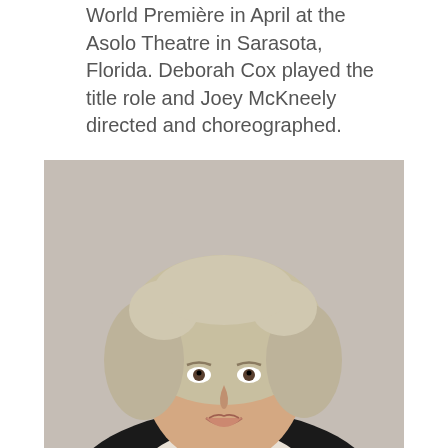World Premiere in April at the Asolo Theatre in Sarasota, Florida. Deborah Cox played the title role and Joey McKneely directed and choreographed.
[Figure (photo): Portrait photograph of Cheryl Wiesenfeld, a woman with curly gray-blonde hair, wearing a black jacket and light-colored top with a decorative brooch, smiling, against a light background.]
CHERYL WIESENFELD
Following a career in publishing, Cheryl began her theatre producing career in 1998. Broadway: The Great Society, The Heidi Chronicles, All The Way, Rocky, Vanya & Sonia & Masha & Spike, The Gershwins' Porgy and